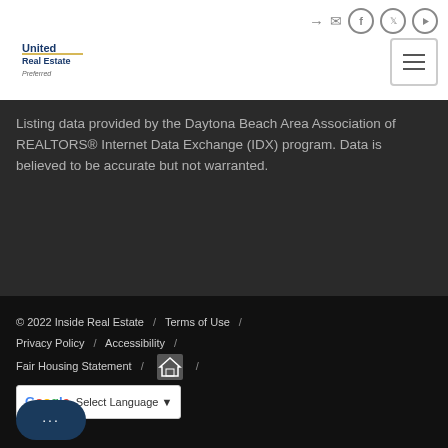[Figure (logo): United Real Estate Preferred logo in top left header]
[Figure (illustration): Navigation icons (sign-in, email, Facebook, Twitter, YouTube) and hamburger menu in header]
Listing data provided by the Daytona Beach Area Association of REALTORS® Internet Data Exchange (IDX) program. Data is believed to be accurate but not warranted.
© 2022 Inside Real Estate / Terms of Use / Privacy Policy / Accessibility / Fair Housing Statement / [Equal Housing logo] / [Google Translate] Select Language ▼